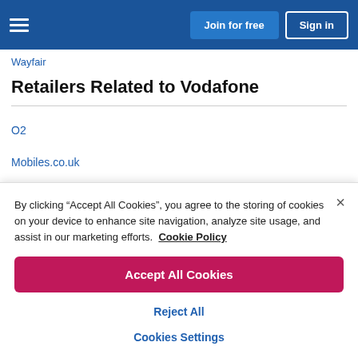Join for free | Sign in
Wayfair
Retailers Related to Vodafone
O2
Mobiles.co.uk
By clicking “Accept All Cookies”, you agree to the storing of cookies on your device to enhance site navigation, analyze site usage, and assist in our marketing efforts.  Cookie Policy
Accept All Cookies
Reject All
Cookies Settings